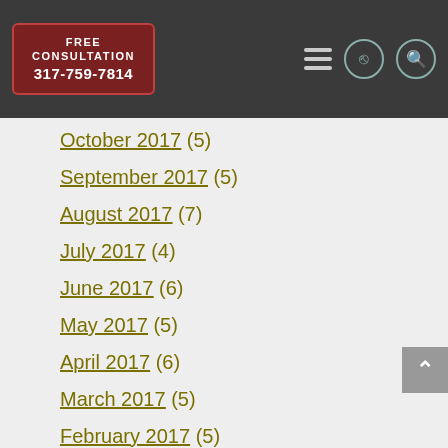FREE CONSULTATION 317-759-7814
October 2017 (5)
September 2017 (5)
August 2017 (7)
July 2017 (4)
June 2017 (6)
May 2017 (5)
April 2017 (6)
March 2017 (5)
February 2017 (5)
January 2017 (5)
December 2016 (7)